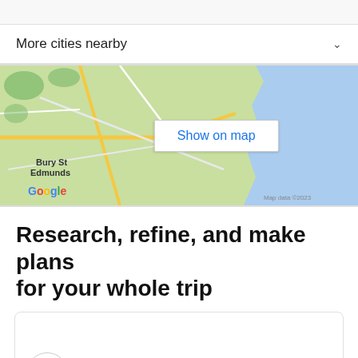More cities nearby
[Figure (map): Google Maps screenshot showing Bury St Edmunds area with a 'Show on map' button overlay]
Research, refine, and make plans for your whole trip
[Figure (illustration): Card with a house/building icon at the bottom left]